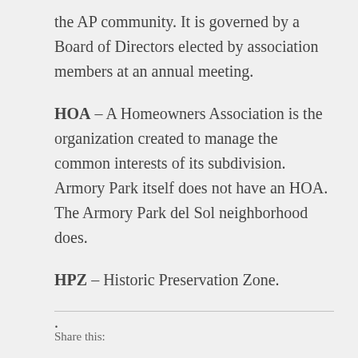the AP community. It is governed by a Board of Directors elected by association members at an annual meeting.
HOA – A Homeowners Association is the organization created to manage the common interests of its subdivision. Armory Park itself does not have an HOA. The Armory Park del Sol neighborhood does.
HPZ – Historic Preservation Zone.
.
Share this: